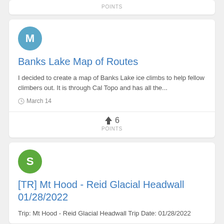POINTS
[Figure (illustration): Blue circle avatar with letter M]
Banks Lake Map of Routes
I decided to create a map of Banks Lake ice climbs to help fellow climbers out. It is through Cal Topo and has all the...
March 14
6 POINTS
[Figure (illustration): Green circle avatar with letter S]
[TR] Mt Hood - Reid Glacial Headwall 01/28/2022
Trip: Mt Hood - Reid Glacial Headwall Trip Date: 01/28/2022